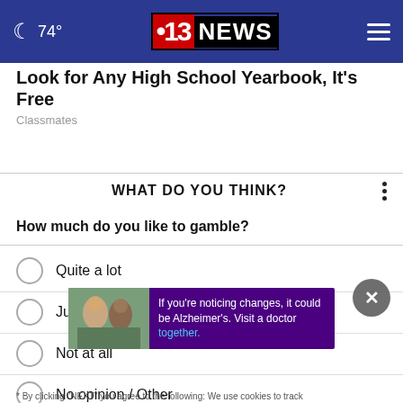74° CBS 13 NEWS
Look for Any High School Yearbook, It's Free
Classmates
WHAT DO YOU THINK?
How much do you like to gamble?
Quite a lot
Just a bit
Not at all
No opinion / Other
[Figure (photo): Advertisement banner showing two people outdoors with text: If you're noticing changes, it could be Alzheimer's. Visit a doctor together.]
* By clicking "NEXT" you agree to the following: We use cookies to track